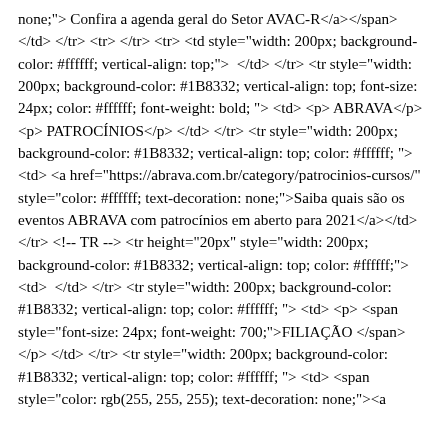none;">&nbsp;Confira a agenda geral do Setor AVAC-R</a></span> </td> </tr> <tr> </tr> <tr> <td style="width: 200px; background-color: #ffffff; vertical-align: top;"> &nbsp;</td> </tr> <tr style="width: 200px; background-color: #1B8332; vertical-align: top; font-size: 24px; color: #ffffff; font-weight: bold; "> <td> <p> ABRAVA</p> <p> PATROCÍNIOS</p> </td> </tr> <tr style="width: 200px; background-color: #1B8332; vertical-align: top; color: #ffffff; "> <td> <a href="https://abrava.com.br/category/patrocinios-cursos/" style="color: #ffffff; text-decoration: none;">Saiba quais são os eventos ABRAVA com patrocínios em aberto para 2021</a></td> </tr> <!-- TR --> <tr height="20px" style="width: 200px; background-color: #1B8332; vertical-align: top; color: #ffffff;"> <td> &nbsp;</td> </tr> <tr style="width: 200px; background-color: #1B8332; vertical-align: top; color: #ffffff; "> <td> <p> <span style="font-size: 24px; font-weight: 700;">FILIAÇÃO&nbsp;</span></p> </td> </tr> <tr style="width: 200px; background-color: #1B8332; vertical-align: top; color: #ffffff; "> <td> <span style="color: rgb(255, 255, 255); text-decoration: none;"><a